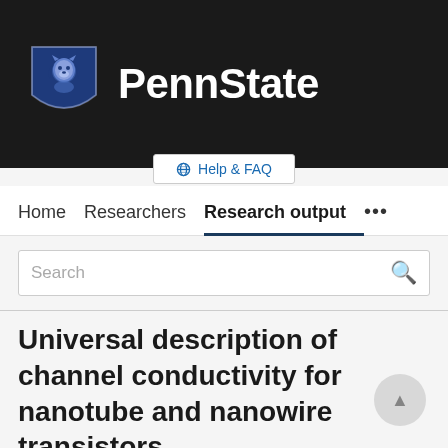[Figure (logo): Penn State University logo — blue lion shield crest next to bold white 'PennState' text on dark background]
Help & FAQ
Home   Researchers   Research output   ...
Search
Universal description of channel conductivity for nanotube and nanowire transistors